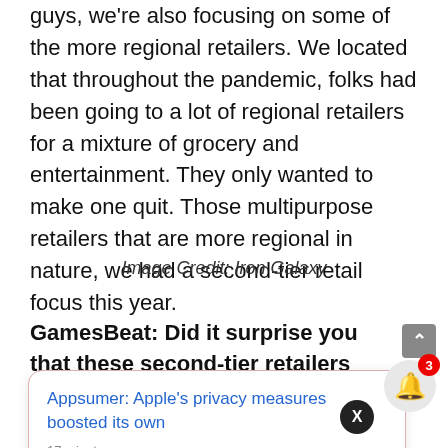guys, we're also focusing on some of the more regional retailers. We located that throughout the pandemic, folks had been going to a lot of regional retailers for a mixture of grocery and entertainment. They only wanted to make one quit. Those multipurpose retailers that are more regional in nature, we had a second-tier retail focus this year.
Image Credit: Iron Galaxy
GamesBeat: Did it surprise you that these second-tier retailers had been significant?
ame," or what
e not just the
large guys. Because we've been so powerful